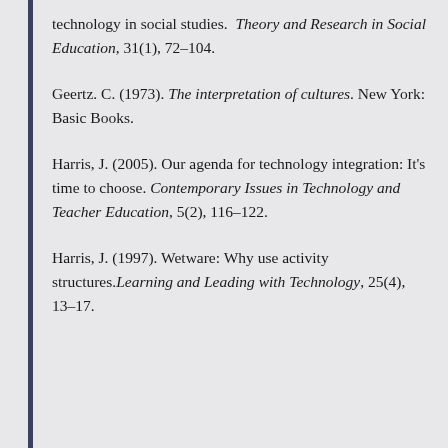technology in social studies. Theory and Research in Social Education, 31(1), 72–104.
Geertz. C. (1973). The interpretation of cultures. New York: Basic Books.
Harris, J. (2005). Our agenda for technology integration: It's time to choose. Contemporary Issues in Technology and Teacher Education, 5(2), 116–122.
Harris, J. (1997). Wetware: Why use activity structures. Learning and Leading with Technology, 25(4), 13–17.